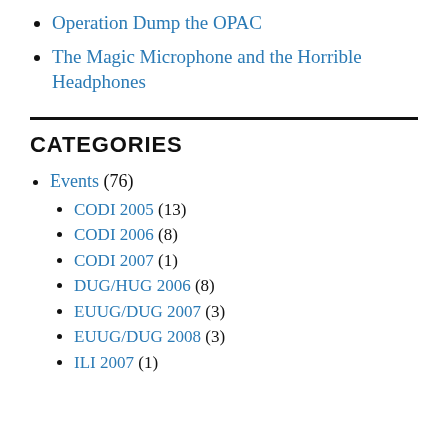Operation Dump the OPAC
The Magic Microphone and the Horrible Headphones
CATEGORIES
Events (76)
CODI 2005 (13)
CODI 2006 (8)
CODI 2007 (1)
DUG/HUG 2006 (8)
EUUG/DUG 2007 (3)
EUUG/DUG 2008 (3)
ILI 2007 (1)